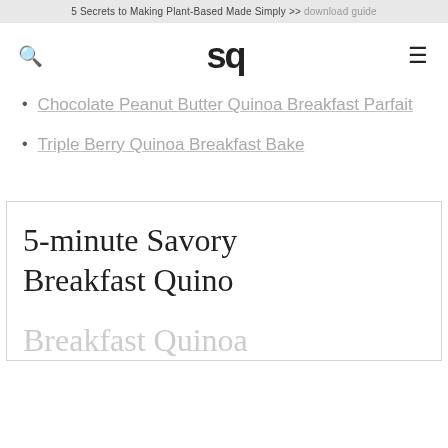5 Secrets to Making Plant-Based Made Simply >> download guide
[Figure (logo): sq logo in bold sans-serif, with search icon on left and hamburger menu on right]
Chocolate Peanut Butter Quinoa Breakfast Parfait
Triple Berry Quinoa Breakfast Bake
5-minute Savory Breakfast Quinoa